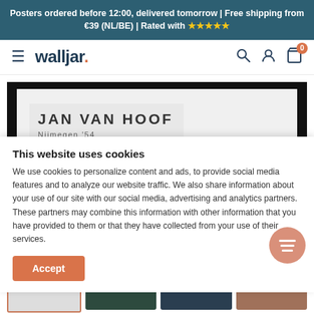Posters ordered before 12:00, delivered tomorrow | Free shipping from €39 (NL/BE) | Rated with ★★★★★
[Figure (logo): Walljar logo with hamburger menu, search, account and cart icons]
[Figure (photo): JAN VAN HOOF Nijmegen '54 - black and white poster showing sailing scene]
This website uses cookies
We use cookies to personalize content and ads, to provide social media features and to analyze our website traffic. We also share information about your use of our site with our social media, advertising and analytics partners. These partners may combine this information with other information that you have provided to them or that they have collected from your use of their services.
[Figure (other): Accept button for cookie consent]
[Figure (other): Thumbnail previews of poster products]